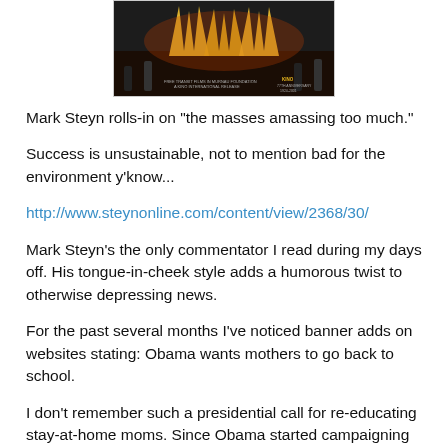[Figure (photo): Movie poster or album cover with stylized spiky text/logo on dark background with figures]
Mark Steyn rolls-in on "the masses amassing too much."
Success is unsustainable, not to mention bad for the environment y'know...
http://www.steynonline.com/content/view/2368/30/
Mark Steyn's the only commentator I read during my days off. His tongue-in-cheek style adds a humorous twist to otherwise depressing news.
For the past several months I've noticed banner adds on websites stating: Obama wants mothers to go back to school.
I don't remember such a presidential call for re-educating stay-at-home moms. Since Obama started campaigning (and he hasn't stopped yet), I've found the glimpses of the